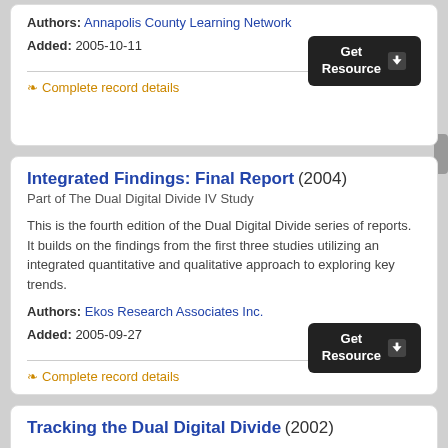Authors: Annapolis County Learning Network
Added: 2005-10-11
[Figure (other): Get Resource button (dark rounded rectangle with download arrow icon)]
Complete record details
Integrated Findings: Final Report (2004)
Part of The Dual Digital Divide IV Study
This is the fourth edition of the Dual Digital Divide series of reports. It builds on the findings from the first three studies utilizing an integrated quantitative and qualitative approach to exploring key trends.
Authors: Ekos Research Associates Inc.
Added: 2005-09-27
[Figure (other): Get Resource button (dark rounded rectangle with download arrow icon)]
Complete record details
Tracking the Dual Digital Divide (2002)